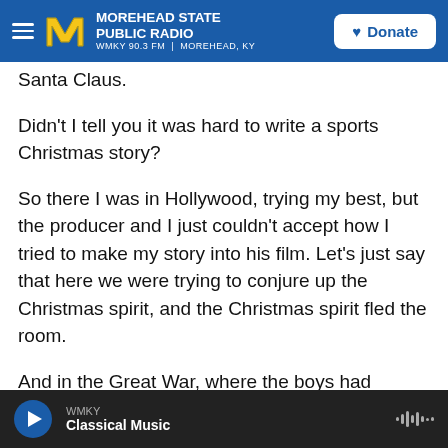MOREHEAD STATE PUBLIC RADIO | WMKY 90.3 FM | MOREHEAD, KY | Donate
Santa Claus.
Didn't I tell you it was hard to write a sports Christmas story?
So there I was in Hollywood, trying my best, but the producer and I just couldn't accept how I tried to make my story into his film. Let's just say that here we were trying to conjure up the Christmas spirit, and the Christmas spirit fled the room.
And in the Great War, where the boys had played that legendary Christmas soccer match against
WMKY | Classical Music